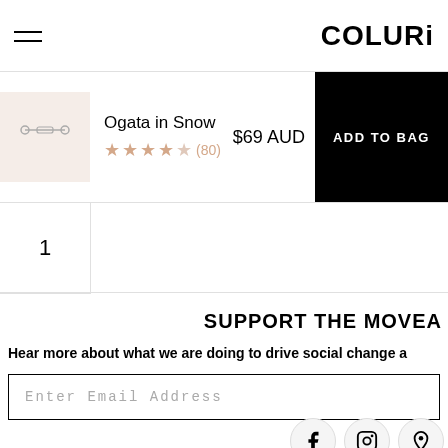COLURi
Ogata in Snow ★★★★☆ (80) $69 AUD ADD TO BAG
1
SUPPORT THE MOVE
Hear more about what we are doing to drive social change a
Enter Email Address